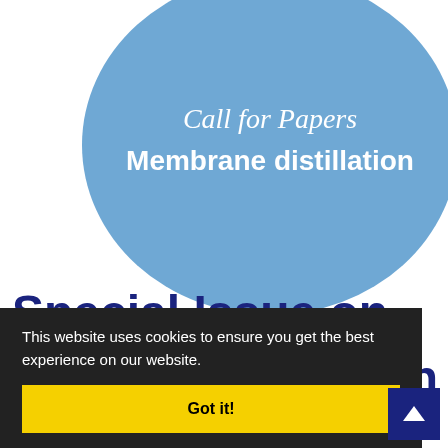[Figure (illustration): Large light blue ellipse/oval shape containing text 'Call for Papers' in italic and 'Membrane distillation' in bold white, positioned in the upper portion of the page]
Special Issue on
This website uses cookies to ensure you get the best experience on our website.
Got it!